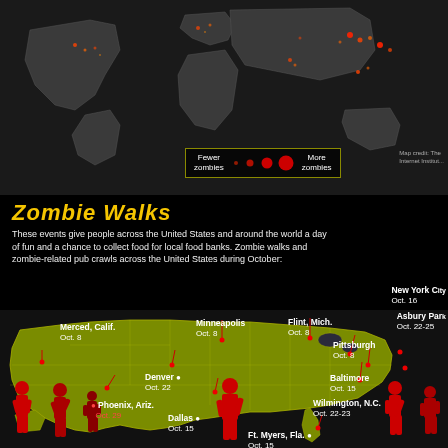[Figure (map): Dark world map background showing population density with red/orange glow dots over populated areas, on black background]
[Figure (infographic): Legend showing zombie concentration: 'Fewer zombies' with small dots graduating to larger red dots labeled 'More zombies']
Map credit: The Internet Institute
Zombie Walks
These events give people across the United States and around the world a day of fun and a chance to collect food for local food banks. Zombie walks and zombie-related pub crawls across the United States during October:
[Figure (map): US map in olive/yellow-green showing locations of zombie walks with red pins and city labels]
Merced, Calif. Oct. 8
Minneapolis Oct. 8
Flint, Mich. Oct. 8
New York City Oct. 16
Asbury Park Oct. 22-25
Pittsburgh Oct. 8
Baltimore Oct. 15
Wilmington, N.C. Oct. 22-23
Denver Oct. 22
Phoenix, Ariz. Oct. 29
Dallas Oct. 15
Ft. Myers, Fla. Oct. 15